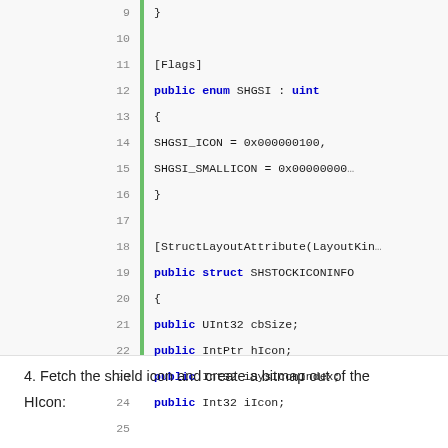[Figure (screenshot): Code block showing C# enum and struct definitions with line numbers 9-29. Green vertical bar on left side. Contains SHGSI enum with flags and SHSTOCKICONINFO struct with public fields.]
4. Fetch the shield icon and create a bitmap out of the HIcon: